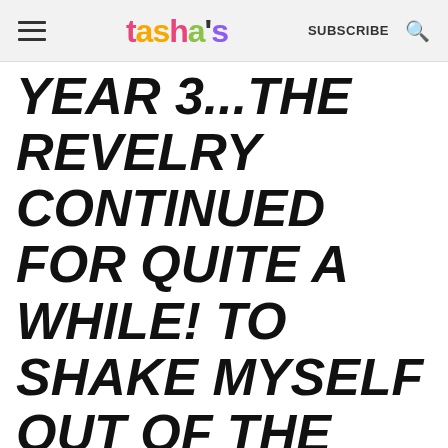tasha's  SUBSCRIBE
YEAR 3...THE REVELRY CONTINUED FOR QUITE A WHILE! TO SHAKE MYSELF OUT OF THE FOOD-INDUCED COMA, I'M COMMITTING TO A "30 DAYS CLEAN